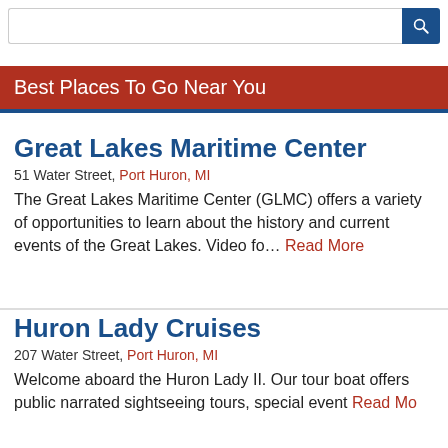[Figure (screenshot): Search bar with text input and blue search button icon]
Best Places To Go Near You
Great Lakes Maritime Center
51 Water Street, Port Huron, MI
The Great Lakes Maritime Center (GLMC) offers a variety of opportunities to learn about the history and current events of the Great Lakes. Video fo… Read More
Huron Lady Cruises
207 Water Street, Port Huron, MI
Welcome aboard the Huron Lady II. Our tour boat offers public narrated sightseeing tours, special event ... Read More